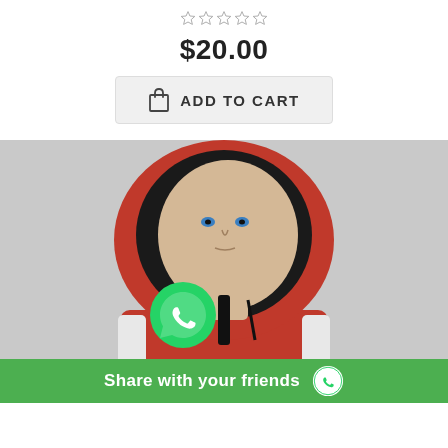[Figure (other): Five empty star rating icons in a row]
$20.00
ADD TO CART
[Figure (photo): A mannequin wearing a red hoodie with white stripes and black lining, photographed against a grey background. A WhatsApp icon is overlaid on the image.]
Share with your friends